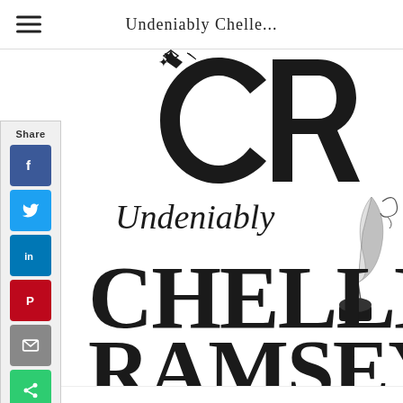Undeniably Chelle...
[Figure (logo): Undeniably Chelle Ramsey brand logo — monogram CR with decorative lettering and quill ink pen illustration]
[Figure (infographic): Social share sidebar with Facebook, Twitter, LinkedIn, Pinterest, Email, and Share buttons]